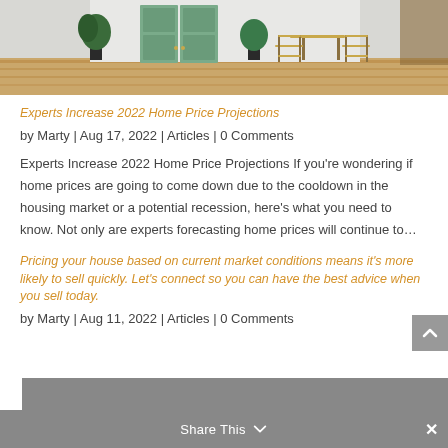[Figure (photo): Photo of a home patio entrance with green door, wooden floor, bistro table and chairs, and potted plants]
Experts Increase 2022 Home Price Projections
by Marty | Aug 17, 2022 | Articles | 0 Comments
Experts Increase 2022 Home Price Projections If you're wondering if home prices are going to come down due to the cooldown in the housing market or a potential recession, here's what you need to know. Not only are experts forecasting home prices will continue to…
Pricing your house based on current market conditions means it's more likely to sell quickly. Let's connect so you can have the best advice when you sell today.
by Marty | Aug 11, 2022 | Articles | 0 Comments
Share This